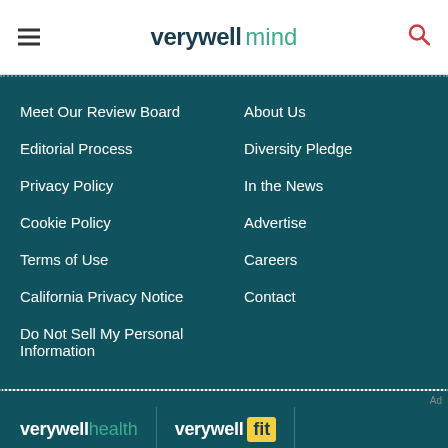verywell mind
Meet Our Review Board
About Us
Editorial Process
Diversity Pledge
Privacy Policy
In the News
Cookie Policy
Advertise
Terms of Use
Careers
California Privacy Notice
Contact
Do Not Sell My Personal Information
[Figure (logo): verywell health and verywell fit logos]
We help people find answers, solve problems and get inspired. Dotdash meredith